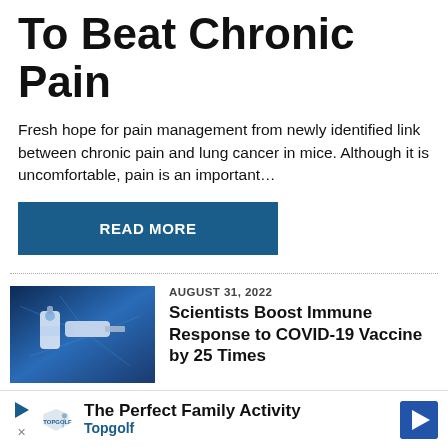To Beat Chronic Pain
Fresh hope for pain management from newly identified link between chronic pain and lung cancer in mice. Although it is uncomfortable, pain is an important…
READ MORE
AUGUST 31, 2022
Scientists Boost Immune Response to COVID-19 Vaccine by 25 Times
AUGUST 31, 2022
[Figure (photo): Vaccine vial and syringe on blue digital background]
[Figure (photo): Green plants/herbs photo]
The Perfect Family Activity Topgolf